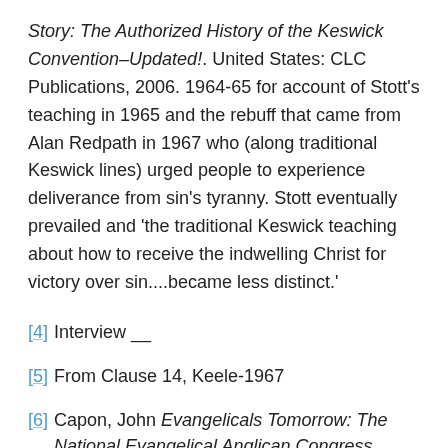Story: The Authorized History of the Keswick Convention–Updated!. United States: CLC Publications, 2006. 1964-65 for account of Stott's teaching in 1965 and the rebuff that came from Alan Redpath in 1967 who (along traditional Keswick lines) urged people to experience deliverance from sin's tyranny. Stott eventually prevailed and 'the traditional Keswick teaching about how to receive the indwelling Christ for victory over sin....became less distinct.'
[4] Interview __
[5] From Clause 14, Keele-1967
[6] Capon, John Evangelicals Tomorrow: The National Evangelical Anglican Congress 1977. Glasgow: Collins,